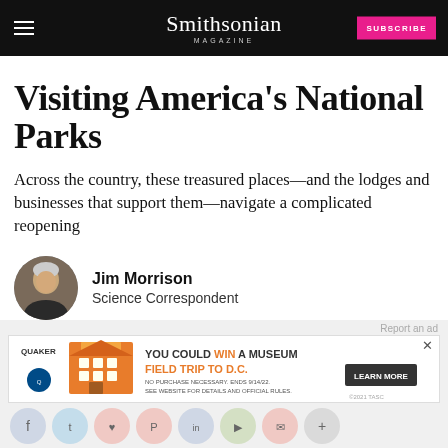Smithsonian MAGAZINE
Visiting America's National Parks
Across the country, these treasured places—and the lodges and businesses that support them—navigate a complicated reopening
Jim Morrison
Science Correspondent
[Figure (infographic): Quaker advertisement: YOU COULD WIN A MUSEUM FIELD TRIP TO D.C. LEARN MORE. No purchase necessary, ends 9/14/22. See website for details and official rules.]